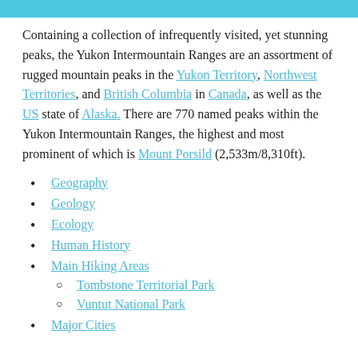Containing a collection of infrequently visited, yet stunning peaks, the Yukon Intermountain Ranges are an assortment of rugged mountain peaks in the Yukon Territory, Northwest Territories, and British Columbia in Canada, as well as the US state of Alaska. There are 770 named peaks within the Yukon Intermountain Ranges, the highest and most prominent of which is Mount Porsild (2,533m/8,310ft).
Geography
Geology
Ecology
Human History
Main Hiking Areas
Tombstone Territorial Park
Vuntut National Park
Major Cities